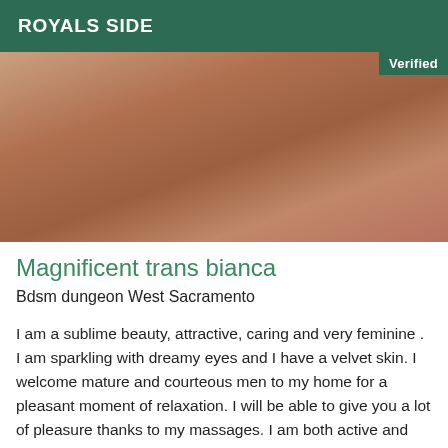ROYALS SIDE
[Figure (photo): Close-up photo with a 'Verified' badge overlay in the top-right corner]
Magnificent trans bianca
Bdsm dungeon West Sacramento
I am a sublime beauty, attractive, caring and very feminine . I am sparkling with dreamy eyes and I have a velvet skin. I welcome mature and courteous men to my home for a pleasant moment of relaxation. I will be able to give you a lot of pleasure thanks to my massages. I am both active and passive. Perfect for beginners... I will be attentive and not in a hurry! Receive in my private apartment in all discretion. I speak fluent American.